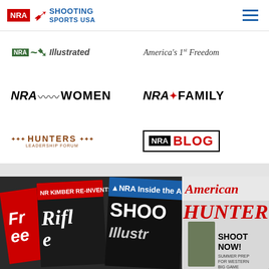NRA Shooting Sports USA
[Figure (logo): NRA Shooting Sports USA logo with red NRA badge and blue text]
[Figure (logo): NRA Illustrated logo (green)]
[Figure (logo): America's 1st Freedom logo in italic serif]
[Figure (logo): NRA Women logo with wave symbol]
[Figure (logo): NRA Family logo with star]
[Figure (logo): NRA Hunters Leadership Forum logo]
[Figure (logo): NRA Blog logo in black box with red BLOG text]
[Figure (photo): Stack of NRA magazine covers including Freedom, Rifle, Shooting Illustrated, and American Hunter with 'SHOOT NOW! Summer Prep for Western Big Game' headline]